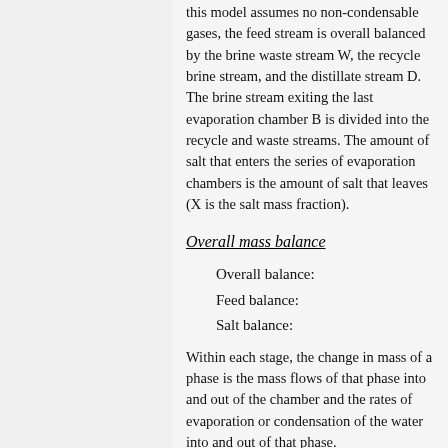this model assumes no non-condensable gases, the feed stream is overall balanced by the brine waste stream W, the recycle brine stream, and the distillate stream D. The brine stream exiting the last evaporation chamber B is divided into the recycle and waste streams. The amount of salt that enters the series of evaporation chambers is the amount of salt that leaves (X is the salt mass fraction).
Overall mass balance
Overall balance:
Feed balance:
Salt balance:
Within each stage, the change in mass of a phase is the mass flows of that phase into and out of the chamber and the rates of evaporation or condensation of the water into and out of that phase.
Stage mass balance
Brine balance: